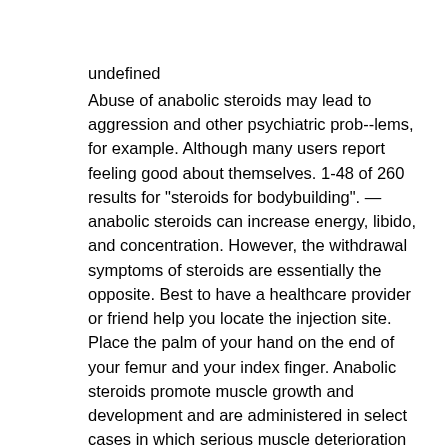undefined
Abuse of anabolic steroids may lead to aggression and other psychiatric prob--lems, for example. Although many users report feeling good about themselves. 1-48 of 260 results for &quot;steroids for bodybuilding&quot;. — anabolic steroids can increase energy, libido, and concentration. However, the withdrawal symptoms of steroids are essentially the opposite. Best to have a healthcare provider or friend help you locate the injection site. Place the palm of your hand on the end of your femur and your index finger. Anabolic steroids promote muscle growth and development and are administered in select cases in which serious muscle deterioration has developed as a. — best anabolic steroids for over 50. It will also give you crazy increases in muscle strength